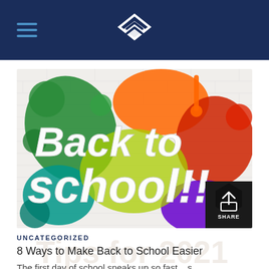Navigation header with hamburger menu and logo
[Figure (illustration): Back to School colorful paint splash illustration on white brick wall background with large white bold text reading 'Back to school!!' over colorful paint splatters in green, orange, red, yellow, teal, and purple. A SHARE button overlay appears in the bottom right corner.]
UNCATEGORIZED
8 Ways to Make Back to School Easier
The first day of school sneaks up so fast... s...